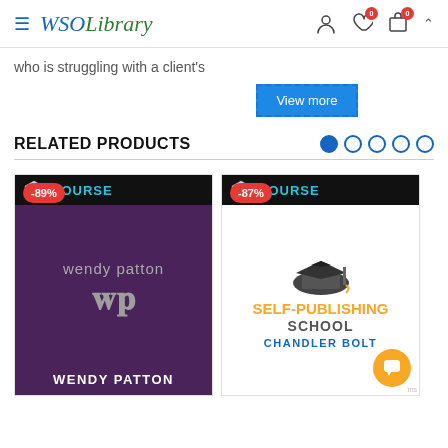WSOLibrary
who is struggling with a client's
View more
RELATED PRODUCTS
[Figure (other): Product card for Wendy Patton course with -89% discount badge, dark purple background with WSO Course header and Wendy Patton logo]
[Figure (other): Product card for Self-Publishing School by Chandler Bolt with -87% discount badge, white background with graduation cap illustration]